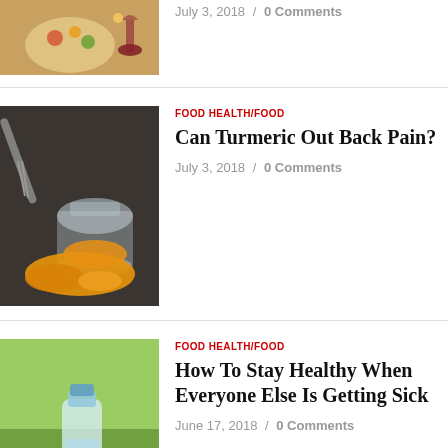[Figure (photo): Partial food photo visible at top of page - appears to show a plate with colorful food and a glass of red wine]
July 3, 2018 / 0 Comments
[Figure (photo): Turmeric spice spilled from a glass jar on a dark surface with a whisk in the background]
FOOD HEALTH/FOOD
Can Turmeric Out Back Pain?
July 3, 2018 / 0 Comments
[Figure (photo): A person drinking water from a plastic bottle outdoors with a green blurred background]
FOOD HEALTH/FOOD
How To Stay Healthy When Everyone Else Is Getting Sick
June 17, 2018 / 0 Comments